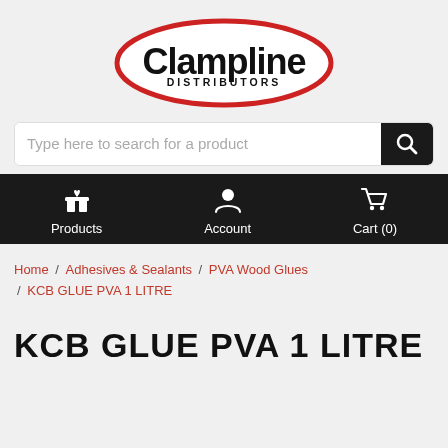[Figure (logo): Clampline Distributors logo — black bold text inside a red oval outline]
[Figure (screenshot): Search bar with placeholder text 'Type here to search for a product' and a dark search button with magnifying glass icon]
[Figure (screenshot): Dark navigation bar with Products (gift icon), Account (person icon), Cart (0) (cart icon)]
Home / Adhesives & Sealants / PVA Wood Glues / KCB GLUE PVA 1 LITRE
KCB GLUE PVA 1 LITRE